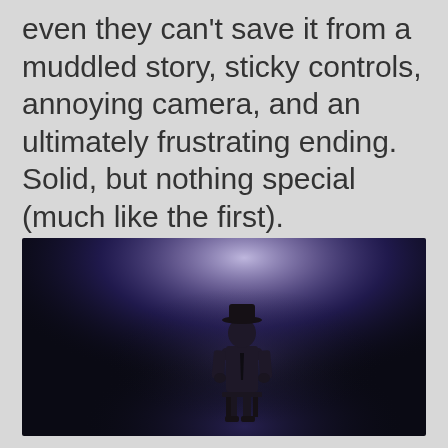even they can't save it from a muddled story, sticky controls, annoying camera, and an ultimately frustrating ending. Solid, but nothing special (much like the first).
[Figure (photo): A silhouetted figure wearing a hat and suit standing in a dramatic purple/blue spotlight in a dark, foggy environment. The figure appears to be standing on a small platform or stool.]